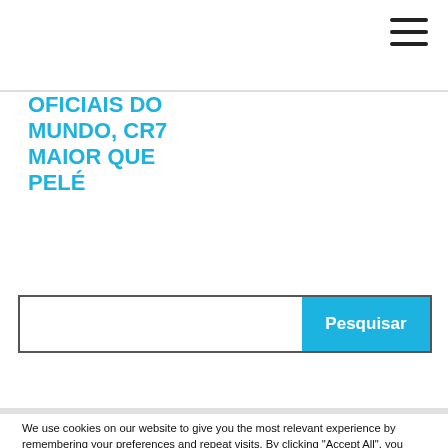OFICIAIS DO MUNDO, CR7 MAIOR QUE PELÉ
[Figure (infographic): Search bar with text input and blue Pesquisar (Search) button]
We use cookies on our website to give you the most relevant experience by remembering your preferences and repeat visits. By clicking "Accept All", you consent to the use of ALL the cookies. However, you may visit "Cookie Settings" to provide a controlled consent.
Cookie Settings   Accept All